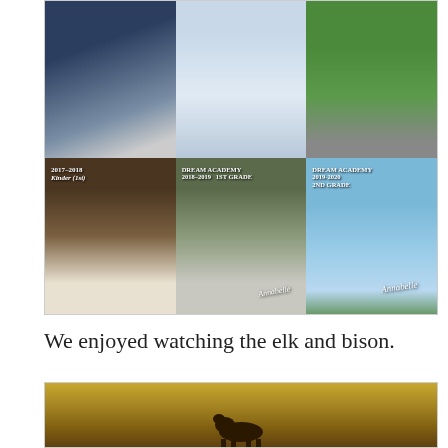[Figure (photo): A 2x3 photo collage of a young girl (Annabelle) across different school years. Top row: three individual photos of the girl in different outfits (floral dress, light blue dress, green top). Bottom row: three school photos labeled 2017-2018 Kindergarten, Dream Academy 2018-2019 1st Grade, Dream Academy 2019-2020 2nd Grade. Name 'Annabelle' appears in cursive on bottom two photos.]
We enjoyed watching the elk and bison.
[Figure (photo): A photo of a bison or elk in a golden grassy field.]